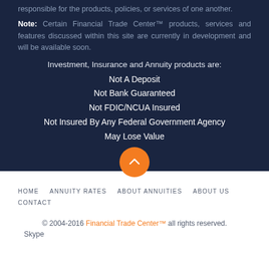responsible for the products, policies, or services of one another.
Note: Certain Financial Trade Center™ products, services and features discussed within this site are currently in development and will be available soon.
Investment, Insurance and Annuity products are:
Not A Deposit
Not Bank Guaranteed
Not FDIC/NCUA Insured
Not Insured By Any Federal Government Agency
May Lose Value
HOME   ANNUITY RATES   ABOUT ANNUITIES   ABOUT US   CONTACT
© 2004-2016 Financial Trade Center™ all rights reserved.
Skype